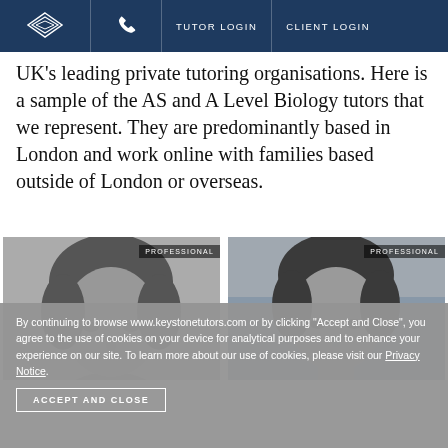TUTOR LOGIN  CLIENT LOGIN
UK's leading private tutoring organisations. Here is a sample of the AS and A Level Biology tutors that we represent. They are predominantly based in London and work online with families based outside of London or overseas.
[Figure (photo): Black and white close-up photo of a young woman's face with 'PROFESSIONAL' badge overlay]
[Figure (photo): Black and white close-up photo of a young man's face with 'PROFESSIONAL' badge overlay]
By continuing to browse www.keystonetutors.com or by clicking "Accept and Close", you agree to the use of cookies on your device for analytical purposes and to enhance your experience on our site. To learn more about our use of cookies, please visit our Privacy Notice.